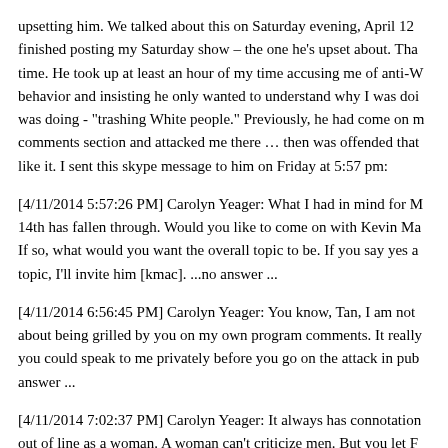upsetting him. We talked about this on Saturday evening, April 12 finished posting my Saturday show – the one he's upset about. Tha time. He took up at least an hour of my time accusing me of anti-W behavior and insisting he only wanted to understand why I was doi was doing - "trashing White people." Previously, he had come on m comments section and attacked me there … then was offended that like it. I sent this skype message to him on Friday at 5:57 pm:
[4/11/2014 5:57:26 PM] Carolyn Yeager: What I had in mind for M 14th has fallen through. Would you like to come on with Kevin Ma If so, what would you want the overall topic to be. If you say yes a topic, I'll invite him [kmac]. ...no answer ...
[4/11/2014 6:56:45 PM] Carolyn Yeager: You know, Tan, I am not about being grilled by you on my own program comments. It really you could speak to me privately before you go on the attack in pub answer ...
[4/11/2014 7:02:37 PM] Carolyn Yeager: It always has connotation out of line as a woman. A woman can't criticize men. But you let F